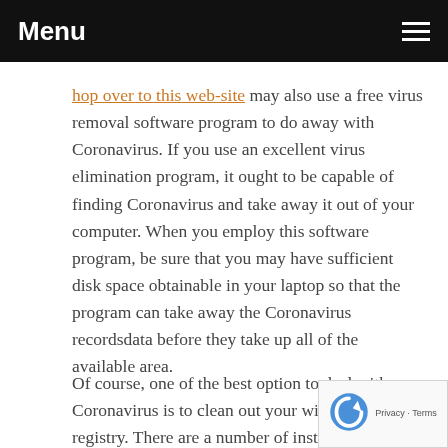Menu
hop over to this web-site may also use a free virus removal software program to do away with Coronavirus. If you use an excellent virus elimination program, it ought to be capable of finding Coronavirus and take away it out of your computer. When you employ this software program, be sure that you may have sufficient disk space obtainable in your laptop so that the program can take away the Coronavirus recordsdata before they take up all of the available area.
Of course, one of the best option to deal with Coronavirus is to clean out your windows registry. There are a number of instruments out there online that